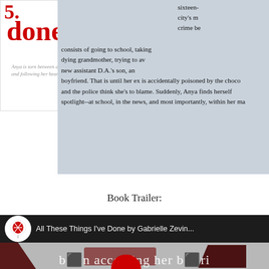5. done
Anya is torn between accepting her birthright and following her heart
sixteen- city's m crime be consists of going to school, taking dying grandmother, trying to av new assistant D.A.'s son, an boyfriend. That is until her ex is accidentally poisoned by the choco and the police think she's to blame. Suddenly, Anya finds herself spotlight--at school, in the news, and most importantly, within her ma
Book Trailer:
[Figure (screenshot): YouTube video embed showing 'All These Things I've Done by Gabrielle Zevin' with red balloon logo, dark background, and book cover imagery at bottom showing text 'b... n accepting her b... ri']